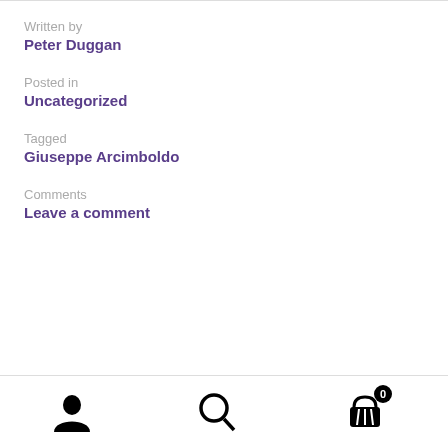Written by
Peter Duggan
Posted in
Uncategorized
Tagged
Giuseppe Arcimboldo
Comments
Leave a comment
[Figure (other): Bottom navigation bar with user icon, search icon, and shopping basket icon with badge showing 0]